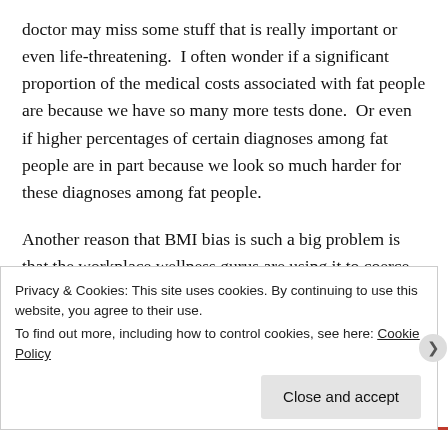doctor may miss some stuff that is really important or even life-threatening.  I often wonder if a significant proportion of the medical costs associated with fat people are because we have so many more tests done.  Or even if higher percentages of certain diagnoses among fat people are in part because we look so much harder for these diagnoses among fat people.
Another reason that BMI bias is such a big problem is that the workplace wellness gurus are using it to coerce or even force us into interventions that may be entirely inappropriate for us.  For example, I've been talking a lot about this Michigan wellness program for fatties BMI around the...
Privacy & Cookies: This site uses cookies. By continuing to use this website, you agree to their use.
To find out more, including how to control cookies, see here: Cookie Policy